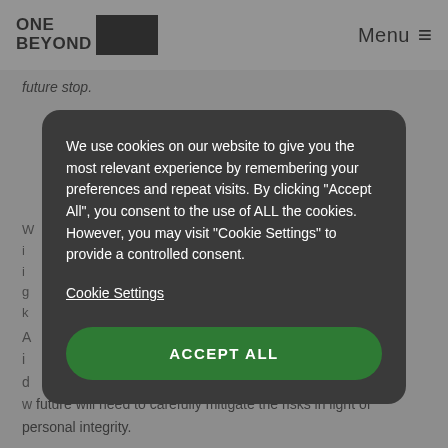ONE BEYOND [logo] | Menu ≡
future stop.
W... i... i... g... k...
We use cookies on our website to give you the most relevant experience by remembering your preferences and repeat visits. By clicking "Accept All", you consent to the use of ALL the cookies. However, you may visit "Cookie Settings" to provide a controlled consent.
Cookie Settings
ACCEPT ALL
A... i... d... w... future will need to carefully mitigate the risks in light of personal integrity.